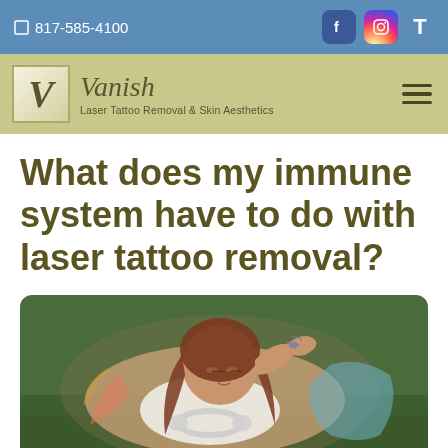☎ 817-585-4100
[Figure (logo): Vanish Laser Tattoo Removal & Skin Aesthetics logo with stylized V in a box]
What does my immune system have to do with laser tattoo removal?
[Figure (photo): Young woman lying on grass with headphones around her neck, arm raised to forehead, wearing a sleeveless white top, with tattoos visible on her arm]